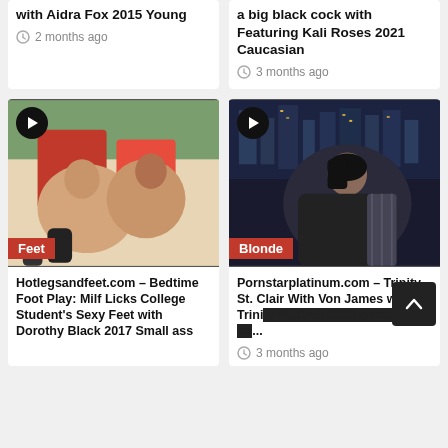with Aidra Fox 2015 Young
2 months ago
a big black cock with Featuring Kali Roses 2021 Caucasian
3 months ago
[Figure (photo): Thumbnail image with Feet category tag and video icon]
Hotlegsandfeet.com – Bedtime Foot Play: Milf Licks College Student's Sexy Feet with Dorothy Black 2017 Small ass
[Figure (photo): Thumbnail image with Blonde category tag and video icon]
Pornstarplatinum.com – Trinity St. Clair With Von James with Trinity St. Clair 2013 shaved pu...
3 months ago